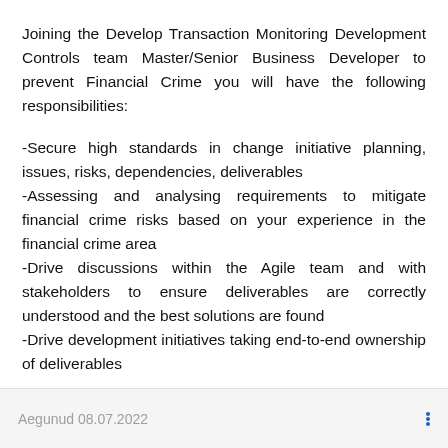Joining the Develop Transaction Monitoring Development Controls team Master/Senior Business Developer to prevent Financial Crime you will have the following responsibilities:
-Secure high standards in change initiative planning, issues, risks, dependencies, deliverables
-Assessing and analysing requirements to mitigate financial crime risks based on your experience in the financial crime area
-Drive discussions within the Agile team and with stakeholders to ensure deliverables are correctly understood and the best solutions are found
-Drive development initiatives taking end-to-end ownership of deliverables
Aegunud 08.07.2022